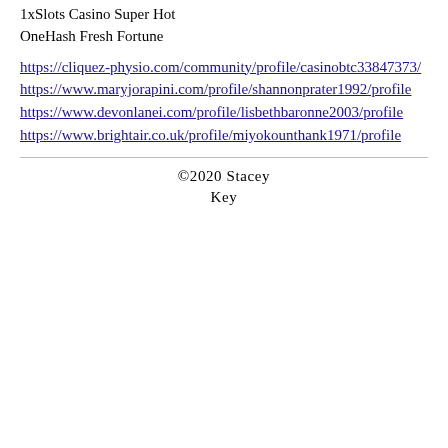1xSlots Casino Super Hot
OneHash Fresh Fortune
https://cliquez-physio.com/community/profile/casinobtc33847373/
https://www.maryjorapini.com/profile/shannonprater1992/profile
https://www.devonlanei.com/profile/lisbethbaronne2003/profile
https://www.brightair.co.uk/profile/miyokounthank1971/profile
©2020 Stacey Key